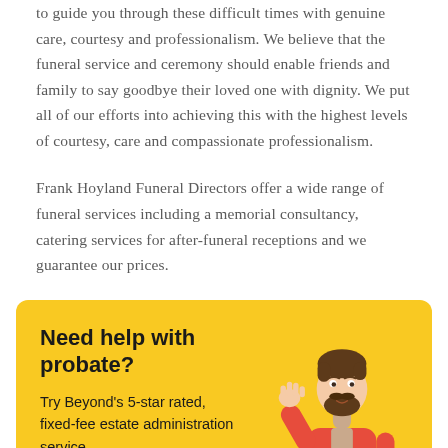to guide you through these difficult times with genuine care, courtesy and professionalism. We believe that the funeral service and ceremony should enable friends and family to say goodbye their loved one with dignity. We put all of our efforts into achieving this with the highest levels of courtesy, care and compassionate professionalism.
Frank Hoyland Funeral Directors offer a wide range of funeral services including a memorial consultancy, catering services for after-funeral receptions and we guarantee our prices.
[Figure (infographic): Yellow banner advertisement for Beyond's probate service featuring a 3D illustrated man in a red coat waving, with title 'Need help with probate?', body text 'Try Beyond's 5-star rated, fixed-fee estate administration service', and a 'Learn more' button.]